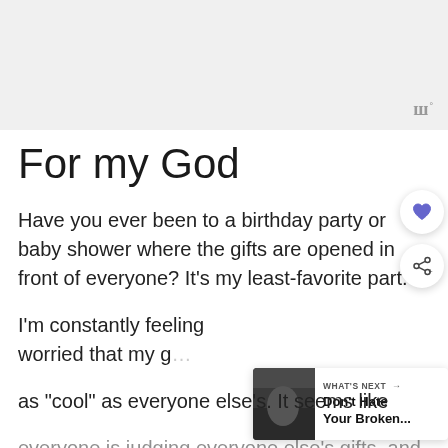[Figure (other): Gray advertisement banner area with a stylized 'uu' logo with a degree symbol in the lower right]
For my God
Have you ever been to a birthday party or baby shower where the gifts are opened in front of everyone?  It's my least-favorite part.
I'm constantly feeling worried that my g... as “cool” as everyone else’s.  It seems like everyone is judging everyone else's gifts, and mine doesn't measure up.